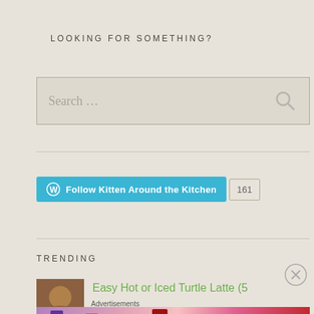LOOKING FOR SOMETHING?
[Figure (screenshot): Search input box with placeholder text 'Search ...' and a search icon on the right, on a light beige background]
[Figure (screenshot): WordPress Follow button for 'Kitten Around the Kitchen' in blue/cyan with follower count badge showing 161]
TRENDING
[Figure (photo): Small thumbnail image (brown/warm tones, close-up) next to trending article title]
Easy Hot or Iced Turtle Latte (5
Advertisements
[Figure (screenshot): MAC Cosmetics advertisement banner showing colorful lipsticks (purple, peach, pink, red) with MAC logo and 'SHOP NOW' text]